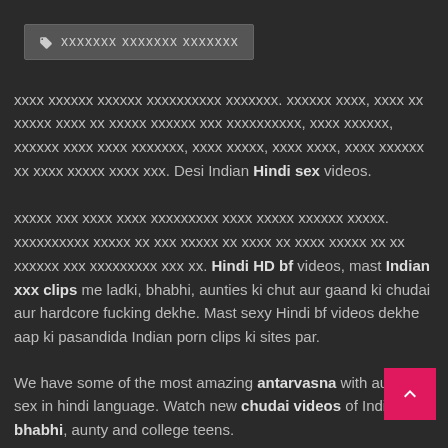xxxxxxx xxxxxxx xxxxxxx
xxxx xxxxxx xxxxxx xxxxxxxxxx xxxxxxx. xxxxxx xxxx, xxxx xx xxxxx xxxx xx xxxxx xxxxxx xxx xxxxxxxxxx, xxxx xxxxxx, xxxxxx xxxx xxxx xxxxxxx, xxxx xxxxx, xxxx xxxx, xxxx xxxxxx xx xxxx xxxxx xxxx xxx. Desi Indian Hindi sex videos.
xxxxx xxx xxxx xxxx xxxxxxxxx xxxx xxxxx xxxxxx xxxxx. xxxxxxxxxx xxxxx xx xxx xxxxx xx xxxx xx xxxx xxxxx xx xx xxxxxx xxx xxxxxxxxx xxx xx. Hindi HD bf videos, mast Indian xxx clips me ladki, bhabhi, aunties ki chut aur gaand ki chudai aur hardcore fucking dekhe. Mast sexy Hindi bf videos dekhe aap ki pasandida Indian porn clips ki sites par.
We have some of the most amazing antarvasna with audio sex in hindi language. Watch new chudai videos of Indian gf, bhabhi, aunty and college teens.